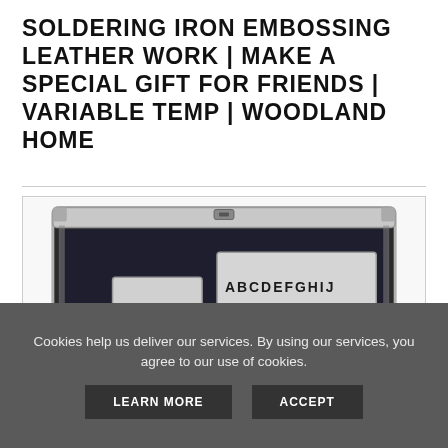SOLDERING IRON EMBOSSING LEATHER WORK | MAKE A SPECIAL GIFT FOR FRIENDS | VARIABLE TEMP | WOODLAND HOME
[Figure (photo): An open aluminum carry case containing leather embossing tools, including a soldering iron and metal stencil plates with alphabet letters A-Z, numbers, and symbols.]
Cookies help us deliver our services. By using our services, you agree to our use of cookies.
LEARN MORE
ACCEPT